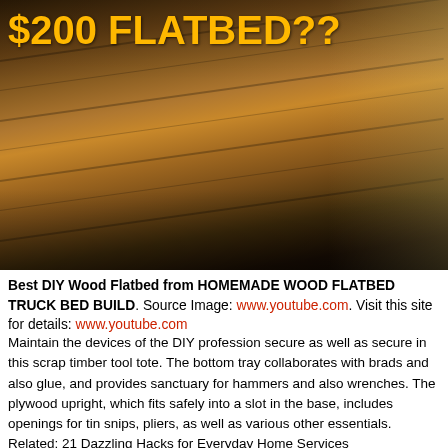[Figure (photo): Close-up photo of a DIY wood flatbed truck bed made from dark stained wooden planks, viewed from a low angle showing the wood grain texture. Text overlay reads '$200 FLATBED??' in large orange/yellow bold letters at the top left.]
Best DIY Wood Flatbed from HOMEMADE WOOD FLATBED TRUCK BED BUILD. Source Image: www.youtube.com. Visit this site for details: www.youtube.com
Maintain the devices of the DIY profession secure as well as secure in this scrap timber tool tote. The bottom tray collaborates with brads and also glue, and provides sanctuary for hammers and also wrenches. The plywood upright, which fits safely into a slot in the base, includes openings for tin snips, pliers, as well as various other essentials. Related: 21 Dazzling Hacks for Everyday Home Services instructables.com using bennelson.